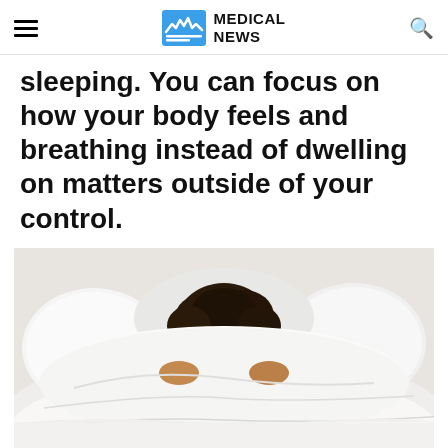MEDICAL NEWS
sleeping. You can focus on how your body feels and breathing instead of dwelling on matters outside of your control.
[Figure (photo): Woman lying in bed, peeking over the edge of a white duvet pulled up to her eyes, surrounded by white pillows]
Advertisement
[Figure (infographic): Advertisement banner: Sunglasses for the Make. TIMELESS STYLES. UNMATCHED QUALITY. SHOP NOW button. Two women wearing sunglasses on yellow and brown background.]